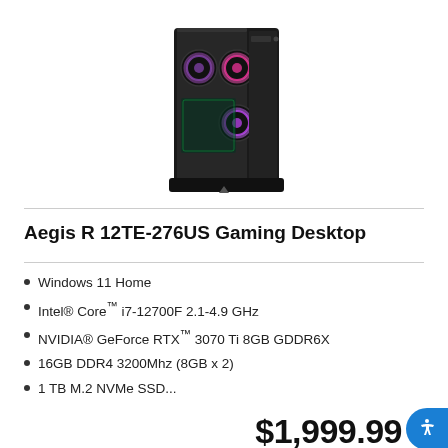[Figure (photo): MSI Aegis R gaming desktop computer tower with RGB fans visible through tempered glass side panel, black case]
Aegis R 12TE-276US Gaming Desktop
Windows 11 Home
Intel® Core™ i7-12700F 2.1-4.9 GHz
NVIDIA® GeForce RTX™ 3070 Ti 8GB GDDR6X
16GB DDR4 3200Mhz (8GB x 2)
1 TB M.2 NVMe SSD...
$1,999.99